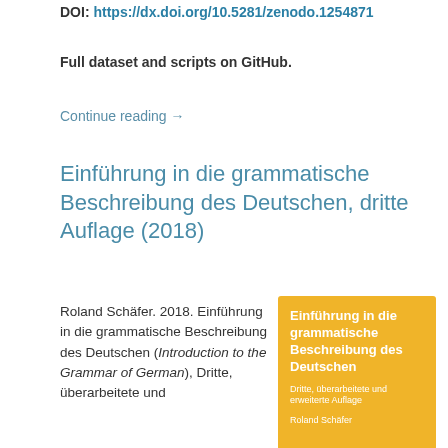DOI: https://dx.doi.org/10.5281/zenodo.1254871
Full dataset and scripts on GitHub.
Continue reading →
Einführung in die grammatische Beschreibung des Deutschen, dritte Auflage (2018)
Roland Schäfer. 2018. Einführung in die grammatische Beschreibung des Deutschen (Introduction to the Grammar of German), Dritte, überarbeitete und
[Figure (illustration): Book cover image with orange/yellow background showing title 'Einführung in die grammatische Beschreibung des Deutschen', subtitle 'Dritte, überarbeitete und erweiterte Auflage', author 'Roland Schäfer']